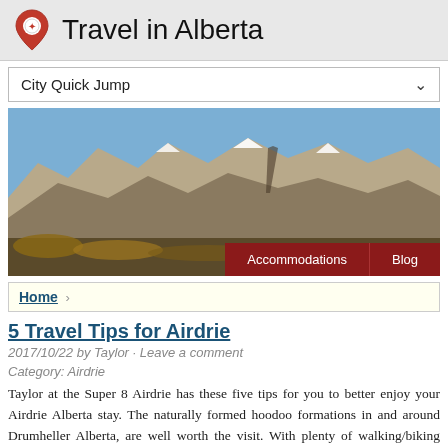Travel in Alberta
City Quick Jump
[Figure (photo): Mountain landscape in Alberta with rocky peaks, snowy summits, and autumn foliage in the foreground. Navigation buttons for Accommodations and Blog overlaid at the bottom right.]
Home
5 Travel Tips for Airdrie
2017/10/22 by Taylor · Leave a comment
Category: Airdrie
Taylor at the Super 8 Airdrie has these five tips for you to better enjoy your Airdrie Alberta stay. The naturally formed hoodoo formations in and around Drumheller Alberta, are well worth the visit. With plenty of walking/biking trails, for both the experienced and the inexperienced, this